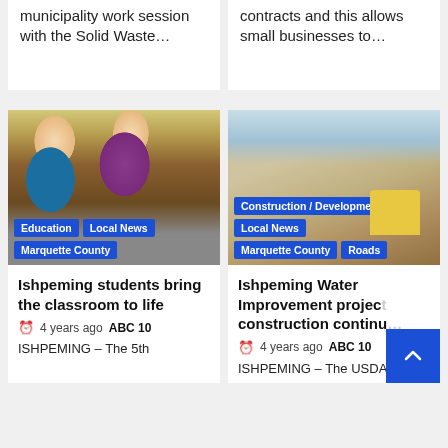municipality work session with the Solid Waste…
contracts and this allows small businesses to…
[Figure (photo): Two children examining something outdoors, one wearing a blue shirt and one wearing a purple shirt, with bags and outdoor vegetation in background]
Education  Local News  Marquette County
[Figure (photo): Construction site with yellow bulldozer/excavator working near residential houses, with dirt and excavated area in foreground]
Construction / Development  Local News  Marquette County  Roads
Ishpeming students bring the classroom to life
4 years ago  ABC 10
ISHPEMING – The 5th
Ishpeming Water Improvement project construction continu…
4 years ago  ABC 10
ISHPEMING – The USDA